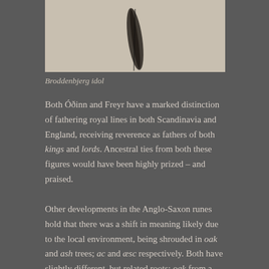[Figure (photo): Partial view of the Broddenbjerg idol artifact against a beige/cream background, showing a dark wooden carved figure]
Broddenbjerg idol
Both Óðinn and Freyr have a marked distinction of fathering royal lines in both Scandinavia and England, receiving reverence as fathers of both kings and lords. Ancestral ties from both these figures would have been highly prized – and praised.
Other developments in the Anglo-Saxon runes hold that there was a shift in meaning likely due to the local environment, being shrouded in oak and ash trees; ac and æsc respectively. Both have slightly different, but related roots; oak from a mix of the